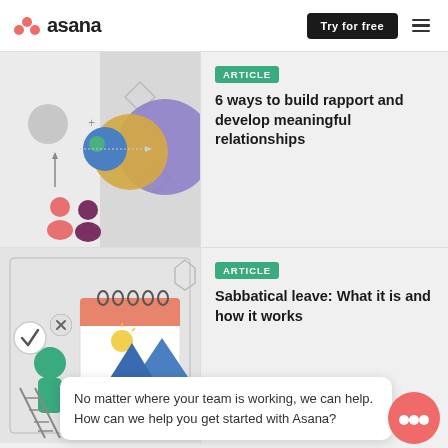[Figure (logo): Asana logo with coral/pink dots and wordmark 'asana']
Try for free
[Figure (illustration): Abstract illustration showing colorful circles and human figures representing relationships]
ARTICLE
6 ways to build rapport and develop meaningful relationships
[Figure (illustration): Illustration showing a calendar with mountains, a green figure on a ladder, and a checkmark]
ARTICLE
Sabbatical leave: What it is and how it works
No matter where your team is working, we can help. How can we help you get started with Asana?